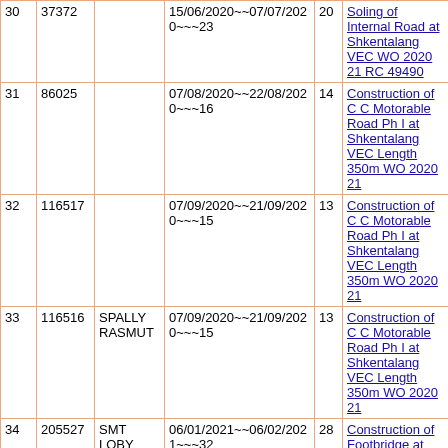| # | ID | Name | Date Range | Dur | Description |
| --- | --- | --- | --- | --- | --- |
| 30 | 37372 |  | 15/06/2020~~07/07/2020~~~23 | 20 | Soling of Internal Road at Shkentalang VEC WO 2020 21 RC 49490 |
| 31 | 86025 |  | 07/08/2020~~22/08/2020~~~16 | 14 | Construction of C C Motorable Road Ph I at Shkentalang VEC Length 350m WO 2020 21 |
| 32 | 116517 |  | 07/09/2020~~21/09/2020~~~15 | 13 | Construction of C C Motorable Road Ph I at Shkentalang VEC Length 350m WO 2020 21 |
| 33 | 116516 | SPALLY RASMUT | 07/09/2020~~21/09/2020~~~15 | 13 | Construction of C C Motorable Road Ph I at Shkentalang VEC Length 350m WO 2020 21 |
| 34 | 205527 | SMT LOBY RASMUT | 06/01/2021~~06/02/2021~~~32 | 28 | Construction of Footbridge at |